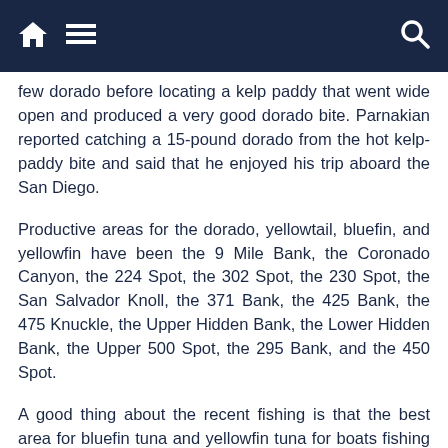Navigation bar with home, menu, and search icons
few dorado before locating a kelp paddy that went wide open and produced a very good dorado bite. Parnakian reported catching a 15-pound dorado from the hot kelp-paddy bite and said that he enjoyed his trip aboard the San Diego.
Productive areas for the dorado, yellowtail, bluefin, and yellowfin have been the 9 Mile Bank, the Coronado Canyon, the 224 Spot, the 302 Spot, the 230 Spot, the San Salvador Knoll, the 371 Bank, the 425 Bank, the 475 Knuckle, the Upper Hidden Bank, the Lower Hidden Bank, the Upper 500 Spot, the 295 Bank, and the 450 Spot.
A good thing about the recent fishing is that the best area for bluefin tuna and yellowfin tuna for boats fishing within 50 miles of Point Loma is not far from San Diego for boats fishing at the 9 Mile Bank and the Coronado